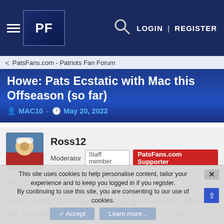[Figure (screenshot): Website navigation header bar for PatsFans.com forum with dark blue background, hamburger menu, PF logo, search icon, LOGIN and REGISTER links]
PatsFans.com - Patriots Fan Forum
Howe: Pats Ecstatic with Mac this Offseason (so far)
MAC10 · May 20, 2022
Ross12
Moderator  Staff member  PatsFans.com Supporter
May 21, 2022  #61
I don't understand people posting old articles about the Pats liking Stidham and Mallett. First of all, obviously the situations are very different. Brady was still here for both of those stories.
This site uses cookies to help personalise content, tailor your experience and to keep you logged in if you register.
By continuing to use this site, you are consenting to our use of cookies.